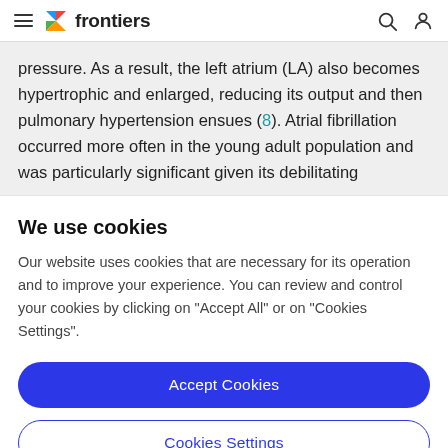frontiers
pressure. As a result, the left atrium (LA) also becomes hypertrophic and enlarged, reducing its output and then pulmonary hypertension ensues (8). Atrial fibrillation occurred more often in the young adult population and was particularly significant given its debilitating
We use cookies
Our website uses cookies that are necessary for its operation and to improve your experience. You can review and control your cookies by clicking on "Accept All" or on "Cookies Settings".
Accept Cookies
Cookies Settings